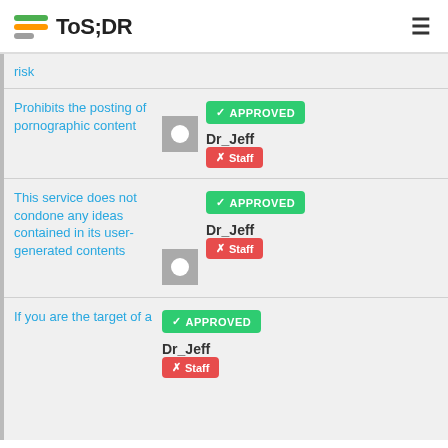ToS;DR
risk
Prohibits the posting of pornographic content — APPROVED — Dr_Jeff Staff
This service does not condone any ideas contained in its user-generated contents — APPROVED — Dr_Jeff Staff
If you are the target of a — APPROVED — Dr_Jeff Staff